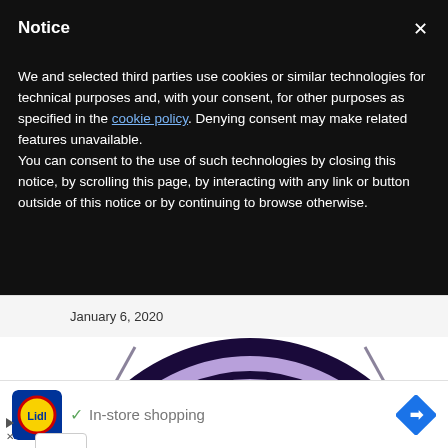Notice
We and selected third parties use cookies or similar technologies for technical purposes and, with your consent, for other purposes as specified in the cookie policy. Denying consent may make related features unavailable.
You can consent to the use of such technologies by closing this notice, by scrolling this page, by interacting with any link or button outside of this notice or by continuing to browse otherwise.
January 6, 2020
[Figure (logo): Partial view of a purple and dark navy circular crest/badge with fleur-de-lis motif and text 'CIN' and 'VIL' visible — consistent with ACF Fiorentina style logo]
[Figure (logo): Lidl logo — yellow circle with red 'Lidl' text on blue square background]
✓ In-store shopping
[Figure (other): Blue diamond-shaped navigation/directions arrow icon]